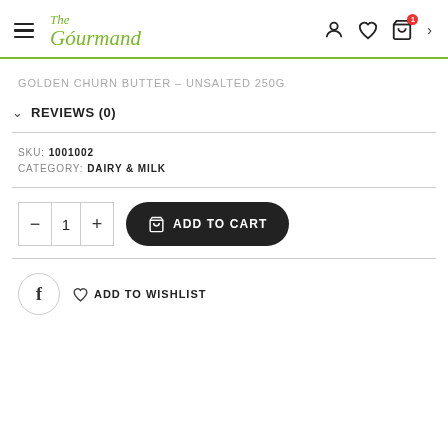The Gourmand
GOLDEN CHURN BUTTER – UNSALTED 250G
REVIEWS (0)
SKU: 1001002
CATEGORY: DAIRY & MILK
ADD TO CART
ADD TO WISHLIST